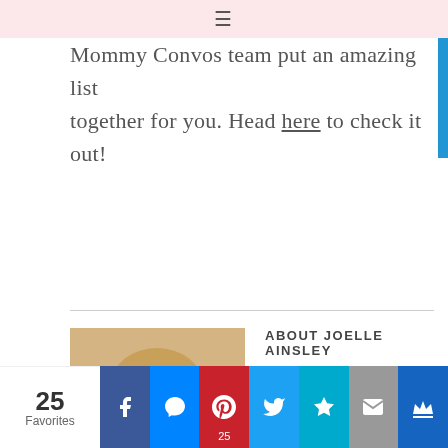≡
Mommy Convos team put an amazing list together for you. Head here to check it out!
ABOUT JOELLE AINSLEY
Joelle is a passionate, creative and seasoned mom with over 30
[Figure (photo): Headshot photo of Joelle Ainsley, a woman with blonde hair, smiling]
25 Favorites | Facebook | Messenger | Pinterest 25 | Twitter | Favorites | Mail | Crown